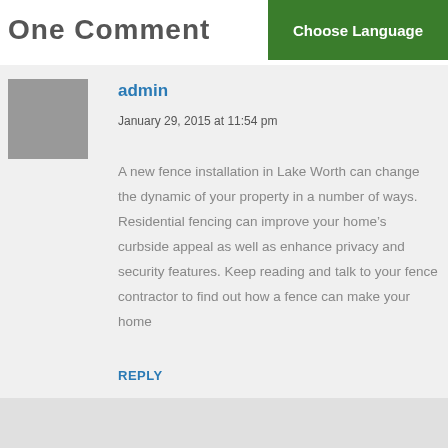One Comment
Choose Language
[Figure (illustration): Gray square avatar placeholder image]
admin
January 29, 2015 at 11:54 pm
A new fence installation in Lake Worth can change the dynamic of your property in a number of ways. Residential fencing can improve your home's curbside appeal as well as enhance privacy and security features. Keep reading and talk to your fence contractor to find out how a fence can make your home
REPLY